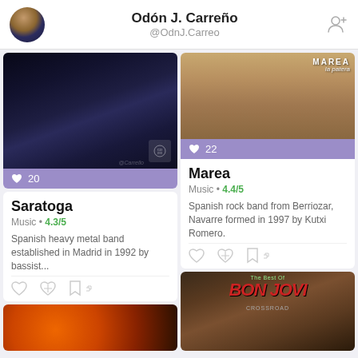Odón J. Carreño @OdnJ.Carreo
[Figure (screenshot): Saratoga album cover - dark fantasy artwork, dark blue tones]
♥ 20
Saratoga
Music • 4.3/5
Spanish heavy metal band established in Madrid in 1992 by bassist...
[Figure (screenshot): Marea la patera album cover - street scene, warm tones]
♥ 22
Marea
Music • 4.4/5
Spanish rock band from Berriozar, Navarre formed in 1997 by Kutxi Romero.
[Figure (screenshot): Bottom left partial image - orange/red tones]
[Figure (screenshot): The Best Of Bon Jovi album cover - sepia/dark tones]